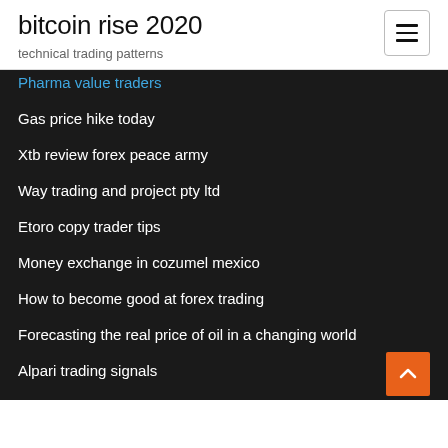bitcoin rise 2020
technical trading patterns
Pharma value traders
Gas price hike today
Xtb review forex peace army
Way trading and project pty ltd
Etoro copy trader tips
Money exchange in cozumel mexico
How to become good at forex trading
Forecasting the real price of oil in a changing world
Alpari trading signals
Where to buy stocks online for free